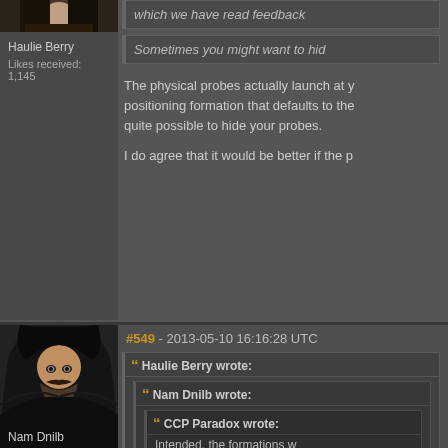[Figure (photo): User avatar photo of Haulie Berry - partial view at top]
Haulie Berry
Likes received: 1,145
which we have read feedback
Sometimes you might want to hid
The physical probes actually launch at y positioning formation that defaults to the quite possible to hide your probes.
I do agree that it would be better if the p
#549 - 2013-05-10 16:16:28 UTC
[Figure (photo): User avatar photo of Nam Dnilb - dark hooded figure]
Nam Dnilb
Haulie Berry wrote:
Nam Dnilb wrote:
CCP Paradox wrote:
Intended, the formations w